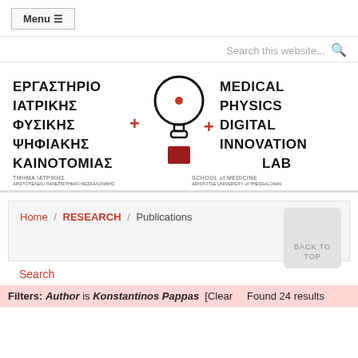Menu ≡
Search this website...
[Figure (logo): Medical Physics + Digital Innovation Lab logo — Greek text ΕΡΓΑΣΤΗΡΙΟ ΙΑΤΡΙΚΗΣ ΦΥΣΙΚΗΣ + ΨΗΦΙΑΚΗΣ ΚΑΙΝΟΤΟΜΙΑΣ with a stethoscope/lightbulb icon and English text MEDICAL PHYSICS + DIGITAL INNOVATION LAB, SCHOOL of MEDICINE, ARISTOTLE UNIVERSITY of THESSALONIKI]
Home / RESEARCH / Publications
Search
Filters: Author is Konstantinos Pappas [Clear   Found 24 results